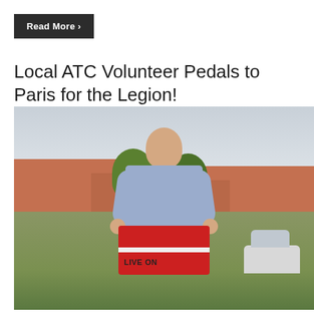Read More ›
Local ATC Volunteer Pedals to Paris for the Legion!
[Figure (photo): A young man in a blue short-sleeve uniform shirt stands outdoors holding up a red, white and blue cycling jersey that reads 'LIVE ON'. He is standing on a residential street with brick houses, trees, and parked cars visible in the background. A bicycle is partially visible beside him.]